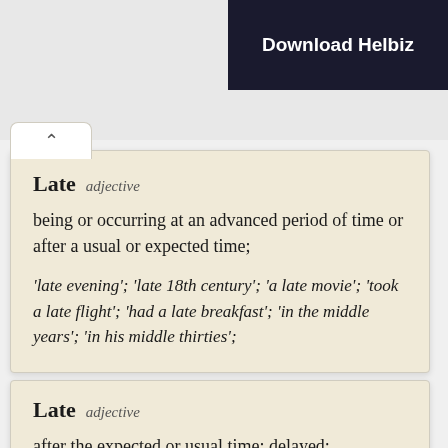[Figure (screenshot): Advertisement banner showing 'Download Helbiz' text over a dark background with a bicycle]
Late  adjective
being or occurring at an advanced period of time or after a usual or expected time;
'late evening'; 'late 18th century'; 'a late movie'; 'took a late flight'; 'had a late breakfast'; 'in the middle years'; 'in his middle thirties';
Late  adjective
after the expected or usual time; delayed;